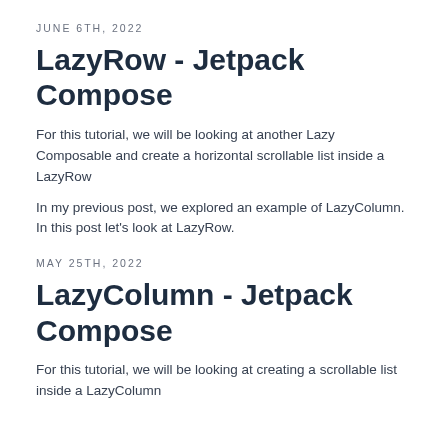JUNE 6TH, 2022
LazyRow - Jetpack Compose
For this tutorial, we will be looking at another Lazy Composable and create a horizontal scrollable list inside a LazyRow
In my previous post, we explored an example of LazyColumn. In this post let's look at LazyRow.
MAY 25TH, 2022
LazyColumn - Jetpack Compose
For this tutorial, we will be looking at creating a scrollable list inside a LazyColumn